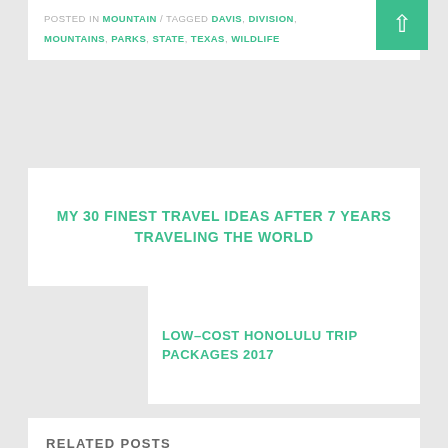POSTED IN MOUNTAIN / TAGGED DAVIS, DIVISION, MOUNTAINS, PARKS, STATE, TEXAS, WILDLIFE
MY 30 FINEST TRAVEL IDEAS AFTER 7 YEARS TRAVELING THE WORLD
LOW-COST HONOLULU TRIP PACKAGES 2017
RELATED POSTS
MOUNTAIN HOUSE FREEZE DRIED FOOD
JUNE 2, 2022
MOUNTAIN COACHING
SEPTEMBER 18, 2021